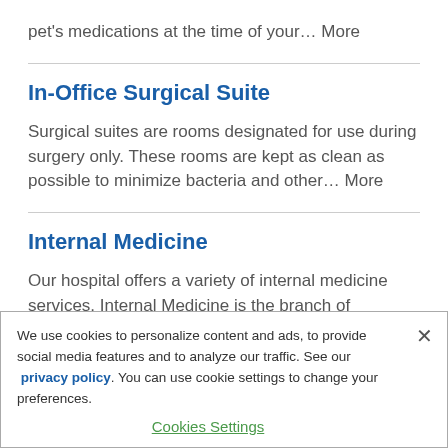pet's medications at the time of your… More
In-Office Surgical Suite
Surgical suites are rooms designated for use during surgery only. These rooms are kept as clean as possible to minimize bacteria and other… More
Internal Medicine
Our hospital offers a variety of internal medicine services. Internal Medicine is the branch of
We use cookies to personalize content and ads, to provide social media features and to analyze our traffic. See our privacy policy. You can use cookie settings to change your preferences.
Cookies Settings